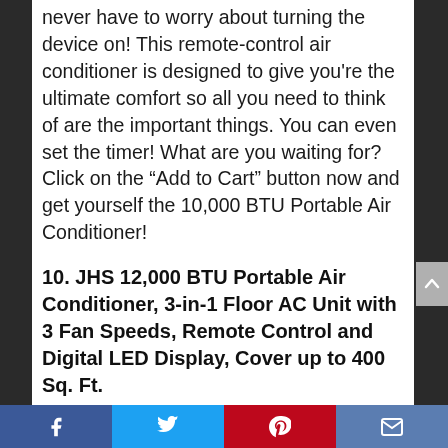never have to worry about turning the device on! This remote-control air conditioner is designed to give you're the ultimate comfort so all you need to think of are the important things. You can even set the timer! What are you waiting for? Click on the “Add to Cart” button now and get yourself the 10,000 BTU Portable Air Conditioner!
10. JHS 12,000 BTU Portable Air Conditioner, 3-in-1 Floor AC Unit with 3 Fan Speeds, Remote Control and Digital LED Display, Cover up to 400 Sq. Ft.
Facebook Twitter Pinterest Email